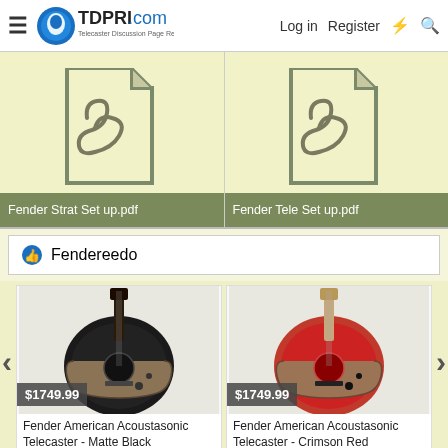TDPRI.com — Telecaster Discussion Page Reissue — Log in | Register
[Figure (other): PDF file attachment icon for Fender Strat Set up.pdf]
Fender Strat Set up.pdf
[Figure (other): PDF file attachment icon for Fender Tele Set up.pdf]
Fender Tele Set up.pdf
Fendereedo
[Figure (photo): Fender American Acoustasonic Telecaster in Matte Black, priced at $1749.99]
Fender American Acoustasonic Telecaster - Matte Black
[Figure (photo): Fender American Acoustasonic Telecaster in Crimson Red, priced at $1749.99]
Fender American Acoustasonic Telecaster - Crimson Red